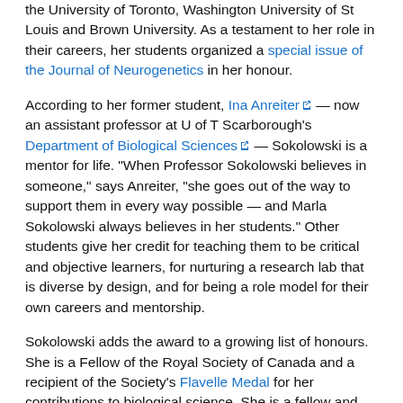the University of Toronto, Washington University of St Louis and Brown University. As a testament to her role in their careers, her students organized a special issue of the Journal of Neurogenetics in her honour.
According to her former student, Ina Anreiter — now an assistant professor at U of T Scarborough's Department of Biological Sciences — Sokolowski is a mentor for life. "When Professor Sokolowski believes in someone," says Anreiter, "she goes out of the way to support them in every way possible — and Marla Sokolowski always believes in her students." Other students give her credit for teaching them to be critical and objective learners, for nurturing a research lab that is diverse by design, and for being a role model for their own careers and mentorship.
Sokolowski adds the award to a growing list of honours. She is a Fellow of the Royal Society of Canada and a recipient of the Society's Flavelle Medal for her contributions to biological science. She is a fellow and former co-director of the Child & Brain Development Program of CIFAR, as well